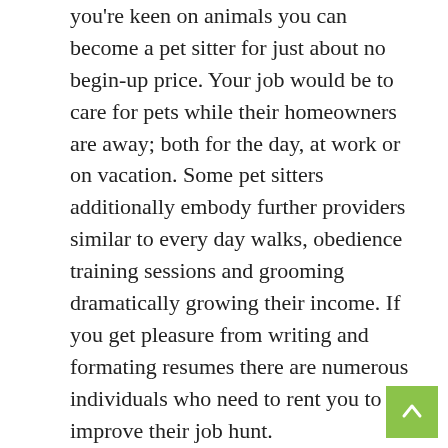you're keen on animals you can become a pet sitter for just about no begin-up price. Your job would be to care for pets while their homeowners are away; both for the day, at work or on vacation. Some pet sitters additionally embody further providers similar to every day walks, obedience training sessions and grooming dramatically growing their income. If you get pleasure from writing and formating resumes there are numerous individuals who need to rent you to improve their job hunt.
Start A Blog
As an underserved niche, especially for languages like Arabic, Russian, and Malay, translation work could be busy and really rewarding. As a business concept, translations may help you build ... Read More